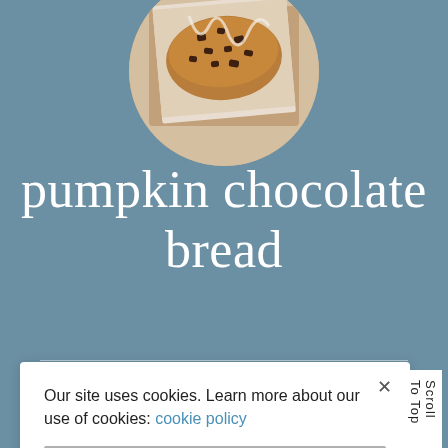[Figure (photo): Circular cropped photo of a loaf of pumpkin chocolate chip bread in a pan, viewed from above, on a light background.]
pumpkin chocolate bread
Author: Sholto   Prep Time: 15
rian
Our site uses cookies. Learn more about our use of cookies: cookie policy
I ACCEPT USE OF COOKIES
Scroll To Top